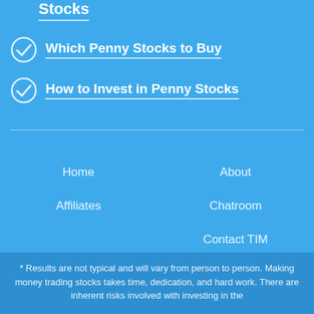Stocks
Which Penny Stocks to Buy
How to Invest in Penny Stocks
Home
About
Affiliates
Chatroom
Contact TIM
* Results are not typical and will vary from person to person. Making money trading stocks takes time, dedication, and hard work. There are inherent risks involved with investing in the